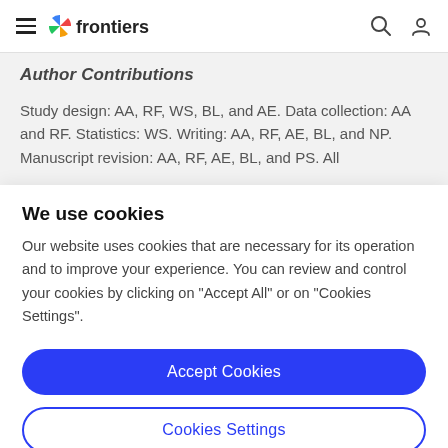frontiers
Author Contributions
Study design: AA, RF, WS, BL, and AE. Data collection: AA and RF. Statistics: WS. Writing: AA, RF, AE, BL, and NP. Manuscript revision: AA, RF, AE, BL, and PS. All
We use cookies
Our website uses cookies that are necessary for its operation and to improve your experience. You can review and control your cookies by clicking on "Accept All" or on "Cookies Settings".
Accept Cookies
Cookies Settings